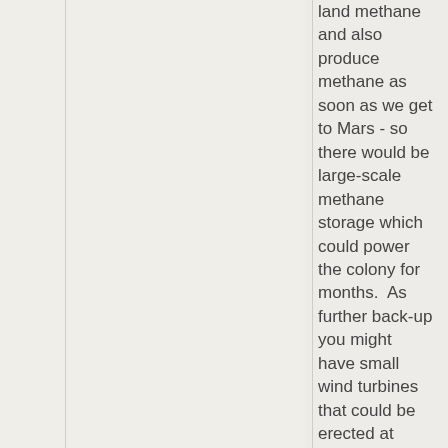land methane and also produce methane as soon as we get to Mars - so there would be large-scale methane storage which could power the colony for months.  As further back-up you might have small wind turbines that could be erected at short notice.  I've read about be in